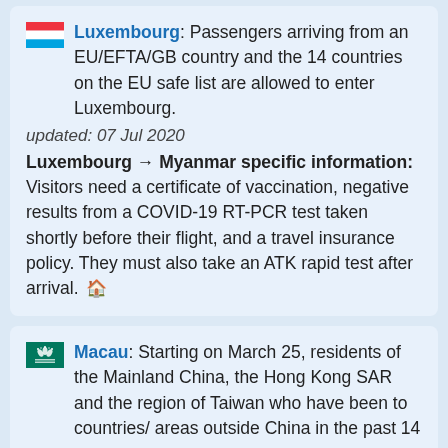Luxembourg: Passengers arriving from an EU/EFTA/GB country and the 14 countries on the EU safe list are allowed to enter Luxembourg. updated: 07 Jul 2020
Luxembourg → Myanmar specific information: Visitors need a certificate of vaccination, negative results from a COVID-19 RT-PCR test taken shortly before their flight, and a travel insurance policy. They must also take an ATK rapid test after arrival. 🏠
Macau: Starting on March 25, residents of the Mainland China, the Hong Kong SAR and the region of Taiwan who have been to countries/areas outside China in the past 14